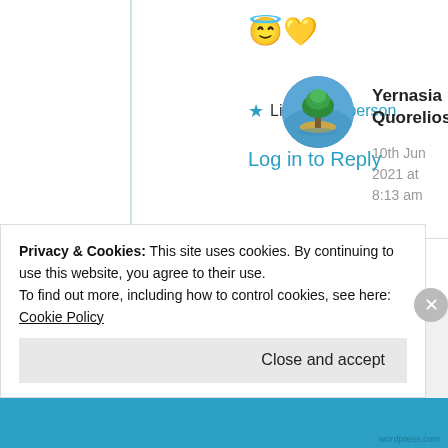😇💛
★ Liked by 1 person
Log in to Reply
[Figure (illustration): Circular avatar image showing a tree on a small island surrounded by water, with blue sky background]
Yernasia Quorelios
10th Jun 2021 at 8:13 am
Privacy & Cookies: This site uses cookies. By continuing to use this website, you agree to their use.
To find out more, including how to control cookies, see here: Cookie Policy
Close and accept